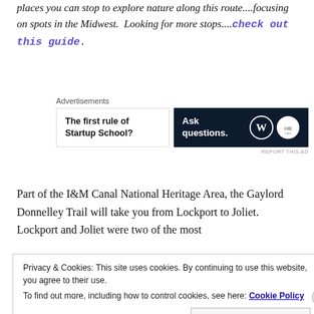places you can stop to explore nature along this route....focusing on spots in the Midwest. Looking for more stops....check out this guide.
[Figure (other): Advertisement banner with two ad units: left shows 'The first rule of Startup School?', right shows dark background with 'Ask questions.' and WordPress/HB logos]
Part of the I&M Canal National Heritage Area, the Gaylord Donnelley Trail will take you from Lockport to Joliet. Lockport and Joliet were two of the most
Privacy & Cookies: This site uses cookies. By continuing to use this website, you agree to their use.
To find out more, including how to control cookies, see here: Cookie Policy
Close and accept